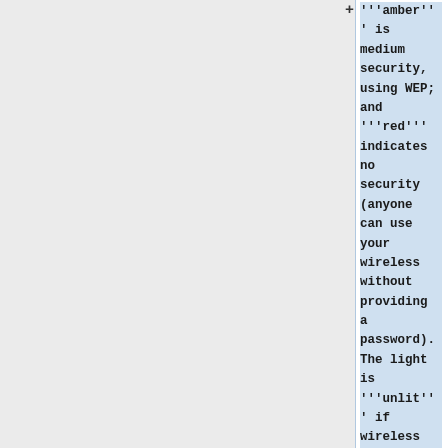'''amber''' is medium security, using WEP; and '''red''' indicates no security (anyone can use your wireless without providing a password). The light is '''unlit''' if wireless is disabled (turned off).